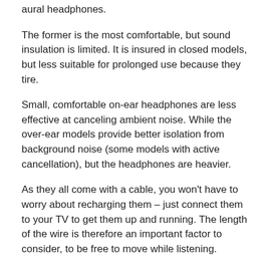aural headphones.
The former is the most comfortable, but sound insulation is limited. It is insured in closed models, but less suitable for prolonged use because they tire.
Small, comfortable on-ear headphones are less effective at canceling ambient noise. While the over-ear models provide better isolation from background noise (some models with active cancellation), but the headphones are heavier.
As they all come with a cable, you won't have to worry about recharging them – just connect them to your TV to get them up and running. The length of the wire is therefore an important factor to consider, to be free to move while listening.
Now let's find out which are the best-wired TV headphones on the market today, the best models chosen for value for money and sound performance.